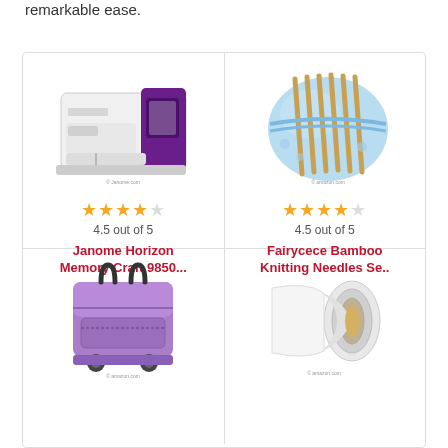remarkable ease.
[Figure (photo): Janome sewing machine (white and purple) product photo with star rating and title]
[Figure (photo): Fairycece bamboo knitting needles set in blue fabric roll, product photo with star rating and title]
[Figure (photo): Purple rolling sewing machine bag/carrier with wheels, product photo]
[Figure (photo): Roll of white material or paper, product photo]